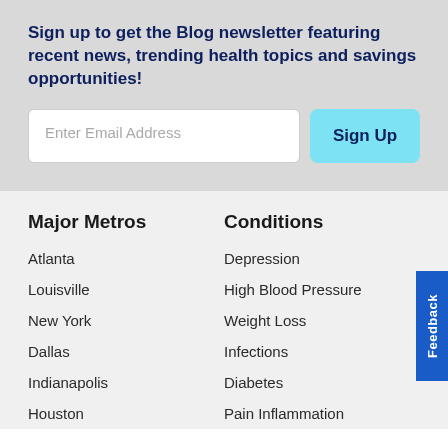Sign up to get the Blog newsletter featuring recent news, trending health topics and savings opportunities!
Enter Email Address
Sign Up
Major Metros
Atlanta
Louisville
New York
Dallas
Indianapolis
Houston
Conditions
Depression
High Blood Pressure
Weight Loss
Infections
Diabetes
Pain Inflammation
Feedback